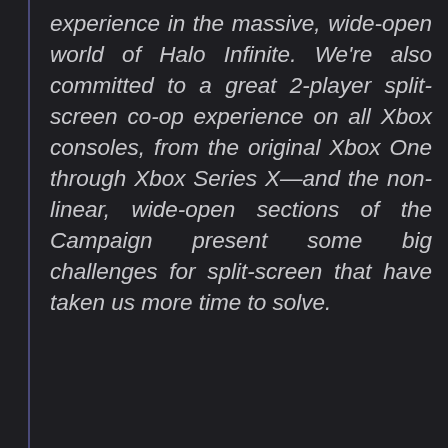experience in the massive, wide-open world of Halo Infinite. We're also committed to a great 2-player split-screen co-op experience on all Xbox consoles, from the original Xbox One through Xbox Series X—and the non-linear, wide-open sections of the Campaign present some big challenges for split-screen that have taken us more time to solve.